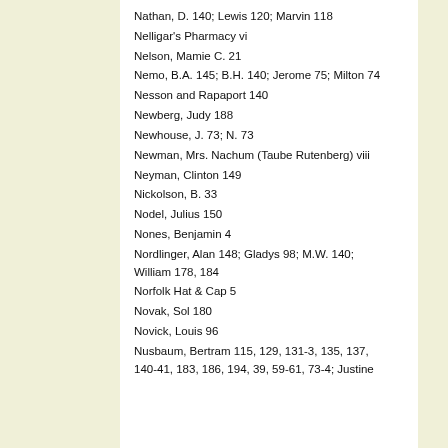Nathan, D. 140; Lewis 120; Marvin 118
Nelligar's Pharmacy vi
Nelson, Mamie C. 21
Nemo, B.A. 145; B.H. 140; Jerome 75; Milton 74
Nesson and Rapaport 140
Newberg, Judy 188
Newhouse, J. 73; N. 73
Newman, Mrs. Nachum (Taube Rutenberg) viii
Neyman, Clinton 149
Nickolson, B. 33
Nodel, Julius 150
Nones, Benjamin 4
Nordlinger, Alan 148; Gladys 98; M.W. 140; William 178, 184
Norfolk Hat & Cap 5
Novak, Sol 180
Novick, Louis 96
Nusbaum, Bertram 115, 129, 131-3, 135, 137, 140-41, 183, 186, 194, 39, 59-61, 73-4; Justine